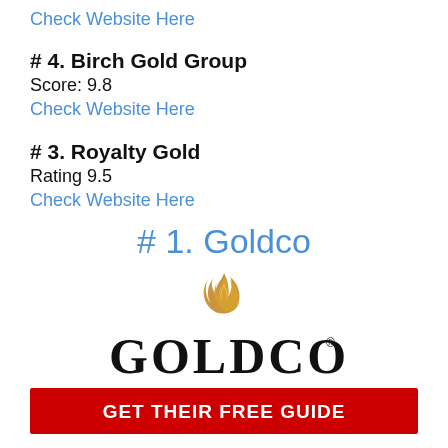Check Website Here
# 4. Birch Gold Group
Score: 9.8
Check Website Here
# 3. Royalty Gold
Rating 9.5
Check Website Here
# 1. Goldco
[Figure (logo): Goldco logo with flame graphic above the text GOLDCO in large black serif letters with a registered trademark symbol]
GET THEIR FREE GUIDE